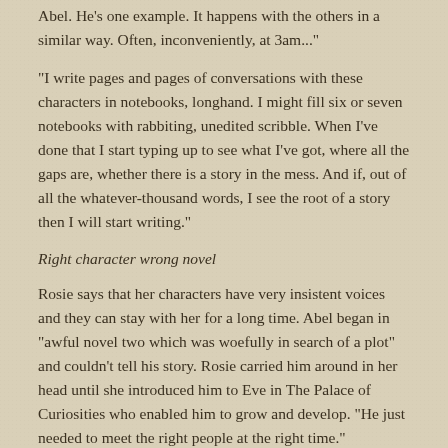Abel. He's one example. It happens with the others in a similar way. Often, inconveniently, at 3am..."
"I write pages and pages of conversations with these characters in notebooks, longhand. I might fill six or seven notebooks with rabbiting, unedited scribble. When I've done that I start typing up to see what I've got, where all the gaps are, whether there is a story in the mess. And if, out of all the whatever-thousand words, I see the root of a story then I will start writing."
Right character wrong novel
Rosie says that her characters have very insistent voices and they can stay with her for a long time. Abel began in "awful novel two which was woefully in search of a plot" and couldn't tell his story. Rosie carried him around in her head until she introduced him to Eve in The Palace of Curiosities who enabled him to grow and develop. "He just needed to meet the right people at the right time."
Abel has left Rosie alone. She explains. "He has told his story now. It's like closure. He gets the last line in Palace, 'I am joy, complete, forever'. And that's it. Abel has told his story and has